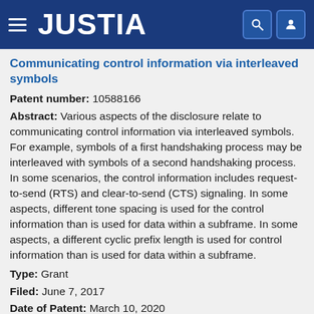JUSTIA
Communicating control information via interleaved symbols
Patent number: 10588166
Abstract: Various aspects of the disclosure relate to communicating control information via interleaved symbols. For example, symbols of a first handshaking process may be interleaved with symbols of a second handshaking process. In some scenarios, the control information includes request-to-send (RTS) and clear-to-send (CTS) signaling. In some aspects, different tone spacing is used for the control information than is used for data within a subframe. In some aspects, a different cyclic prefix length is used for control information than is used for data within a subframe.
Type: Grant
Filed: June 7, 2017
Date of Patent: March 10, 2020